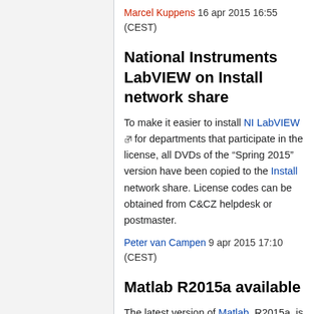Marcel Kuppens 16 apr 2015 16:55 (CEST)
National Instruments LabVIEW on Install network share
To make it easier to install NI LabVIEW for departments that participate in the license, all DVDs of the "Spring 2015" version have been copied to the Install network share. License codes can be obtained from C&CZ helpdesk or postmaster.
Peter van Campen 9 apr 2015 17:10 (CEST)
Matlab R2015a available
The latest version of Matlab, R2015a, is available for departments that have licenses. The software and license codes